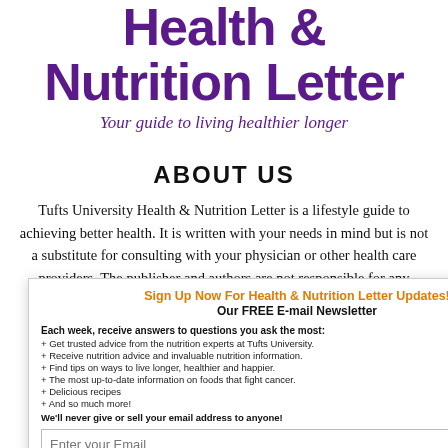Health & Nutrition Letter
Your guide to living healthier longer
ABOUT US
Tufts University Health & Nutrition Letter is a lifestyle guide to achieving better health. It is written with your needs in mind but is not a substitute for consulting with your physician or other health care providers. The publisher and authors are not responsible for any adverse effects or
[Figure (other): Email newsletter sign-up popup with orange heading 'Sign Up Now For Health & Nutrition Letter Updates!', subtitle 'Our FREE E-mail Newsletter', bullet points listing benefits, email input field, and 'Sign me up!' button]